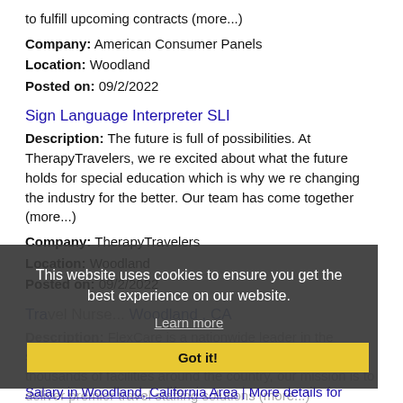to fulfill upcoming contracts (more...)
Company: American Consumer Panels
Location: Woodland
Posted on: 09/2/2022
Sign Language Interpreter SLI
Description: The future is full of possibilities. At TherapyTravelers, we re excited about what the future holds for special education which is why we re changing the industry for the better. Our team has come together (more...)
Company: TherapyTravelers
Location: Woodland
Posted on: 09/2/2022
Travel Nurse... Woodland, CA
Description: FlexCare is a nationwide leader in the staffing of travel nurses and clinicians. With access to thousands of facilities around the country, our mission is to deliver premier travel staffing solutions (more...)
Company: FlexCare Medical Staffing
Location: Woodland
Posted on: 09/2/2022
This website uses cookies to ensure you get the best experience on our website.
Learn more
Got it!
Salary in Woodland, California Area | More details for